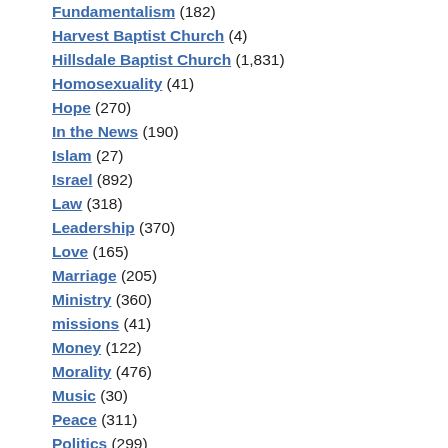Fundamentalism (182)
Harvest Baptist Church (4)
Hillsdale Baptist Church (1,831)
Homosexuality (41)
Hope (270)
In the News (190)
Islam (27)
Israel (892)
Law (318)
Leadership (370)
Love (165)
Marriage (205)
Ministry (360)
missions (41)
Money (122)
Morality (476)
Music (30)
Peace (311)
Politics (299)